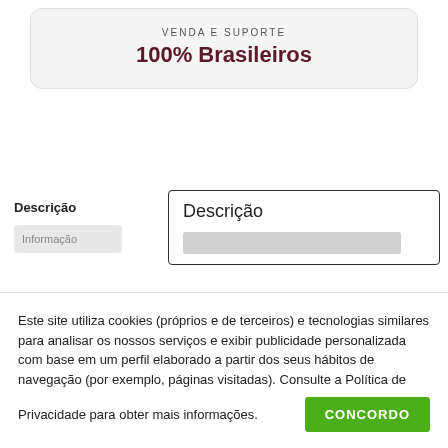[Figure (infographic): Rounded card with text 'VENDA E SUPORTE' and '100% Brasileiros' on a light grey background]
Descrição
Informação
Descrição
Este site utiliza cookies (próprios e de terceiros) e tecnologias similares para analisar os nossos serviços e exibir publicidade personalizada com base em um perfil elaborado a partir dos seus hábitos de navegação (por exemplo, páginas visitadas). Consulte a Política de
Privacidade para obter mais informações.